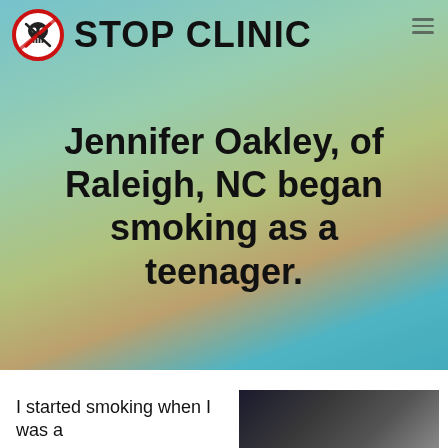[Figure (screenshot): Stop Clinic website header with logo (skull in red circle with prohibition sign) and the text 'STOP CLINIC' in bold black on a gradient background of teal, green, yellow-tan, and blue sky tones.]
Jennifer Oakley, of Raleigh, NC began smoking as a teenager.
I started smoking when I was a